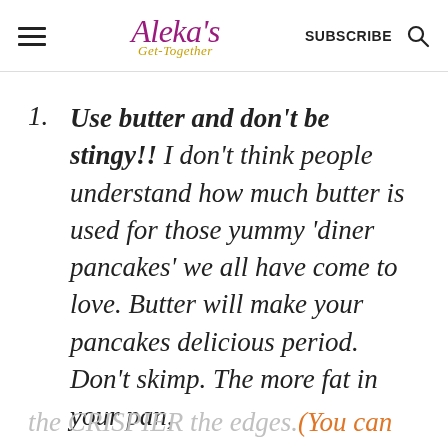Aleka's Get-Together | SUBSCRIBE
Use butter and don't be stingy!! I don't think people understand how much butter is used for those yummy 'diner pancakes' we all have come to love. Butter will make your pancakes delicious period. Don't skimp. The more fat in your pan,
the CRISPIER the edges. (You can